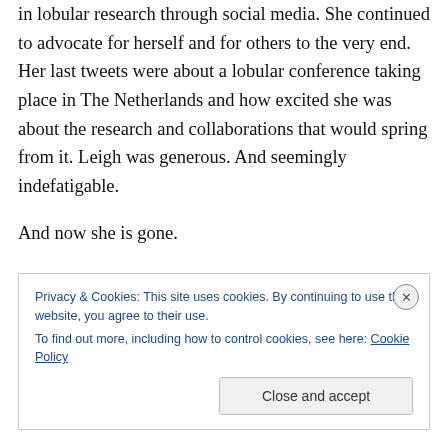encouragement to post docs and promoted new findings in lobular research through social media. She continued to advocate for herself and for others to the very end. Her last tweets were about a lobular conference taking place in The Netherlands and how excited she was about the research and collaborations that would spring from it. Leigh was generous. And seemingly indefatigable.
And now she is gone.
To say that Leigh Pate will be missed is practically a criminal understatement. Many will miss her, even people
Privacy & Cookies: This site uses cookies. By continuing to use this website, you agree to their use.
To find out more, including how to control cookies, see here: Cookie Policy